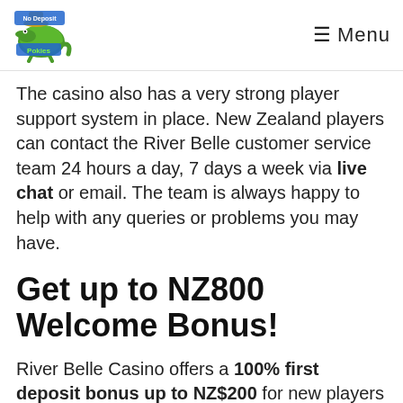No Deposit Pokies — Menu
The casino also has a very strong player support system in place. New Zealand players can contact the River Belle customer service team 24 hours a day, 7 days a week via live chat or email. The team is always happy to help with any queries or problems you may have.
Get up to NZ800 Welcome Bonus!
River Belle Casino offers a 100% first deposit bonus up to NZ$200 for new players from New Zealand. There is also a further two match bonuses with up to